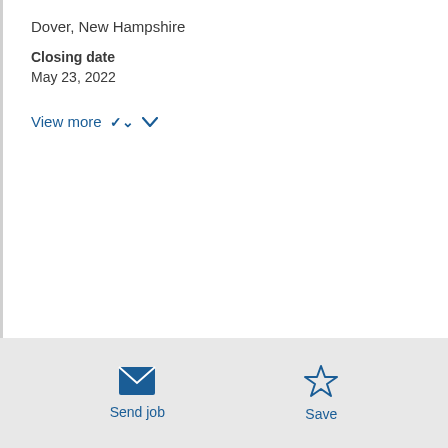Dover, New Hampshire
Closing date
May 23, 2022
View more
Description:
At Wentworth-Douglass, we value people who contribute to patient-centered care that enhances community health; we recognize and reward those
Send job
Save